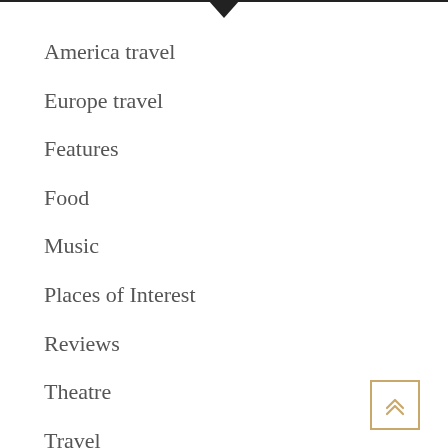America travel
Europe travel
Features
Food
Music
Places of Interest
Reviews
Theatre
Travel
UK travel
[Figure (other): Back to top button with double chevron up arrow, gold/tan border]